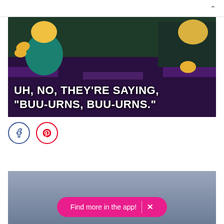[Figure (screenshot): Simpsons meme screenshot showing cartoon characters at what appears to be a sports event or theater, with white text overlay reading: UH, NO, THEY'RE SAYING, "BUU-URNS, BUU-URNS."]
[Figure (screenshot): Social share buttons: Facebook (blue circle with f icon) and Pinterest (red circle with P icon)]
[Figure (screenshot): Partial second image visible at bottom of page, grey/blue background, with a pink rounded pill-shaped banner reading 'Find more in the app!' with an X close button]